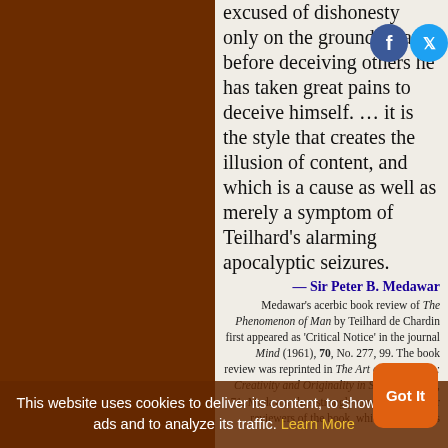excused of dishonesty only on the grounds that before deceiving others he has taken great pains to deceive himself. … it is the style that creates the illusion of content, and which is a cause as well as merely a symptom of Teilhard's alarming apocalyptic seizures.
— Sir Peter B. Medawar
Medawar's acerbic book review of The Phenomenon of Man by Teilhard de Chardin first appeared as 'Critical Notice' in the journal Mind (1961), 70, No. 277, 99. The book review was reprinted in The Art of the Soluble: Creativity and Originality in Science (1967), 71. Medawar thus strongly contradicted other reviewers of the book, which he said was
This website uses cookies to deliver its content, to show relevant ads and to analyze its traffic. Learn More